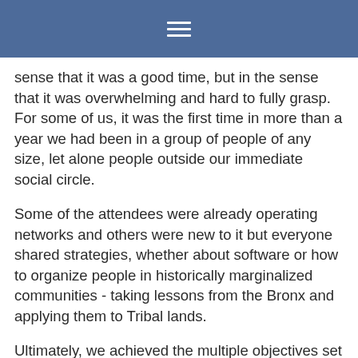≡
sense that it was a good time, but in the sense that it was overwhelming and hard to fully grasp. For some of us, it was the first time in more than a year we had been in a group of people of any size, let alone people outside our immediate social circle.
Some of the attendees were already operating networks and others were new to it but everyone shared strategies, whether about software or how to organize people in historically marginalized communities - taking lessons from the Bronx and applying them to Tribal lands.
Ultimately, we achieved the multiple objectives set out from the beginning - to share strategies on building physical networks while actually building a social support network for this work that would endure after the weekend ended. Each of the Tribes involved received a set of 2.5 GHz radios